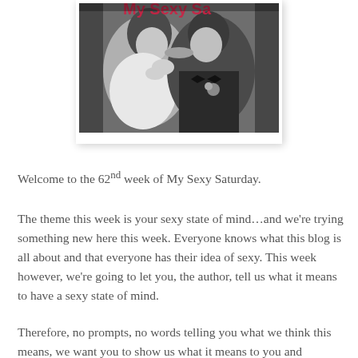[Figure (photo): Black and white photograph of a couple kissing, woman in white dress, man in dark suit with bow tie and boutonniere, partially visible red text at top]
Welcome to the 62nd week of My Sexy Saturday.
The theme this week is your sexy state of mind…and we're trying something new here this week. Everyone knows what this blog is all about and that everyone has their idea of sexy. This week however, we're going to let you, the author, tell us what it means to have a sexy state of mind.
Therefore, no prompts, no words telling you what we think this means, we want you to show us what it means to you and